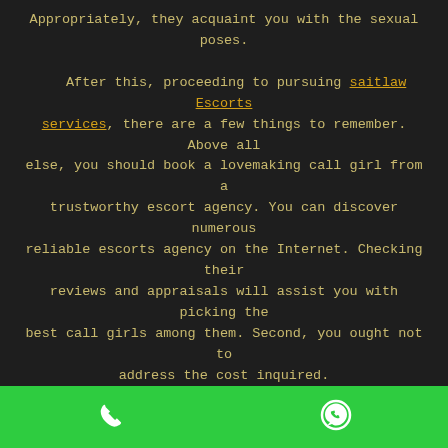Appropriately, they acquaint you with the sexual poses.

After this, proceeding to pursuing saitlaw Escorts services, there are a few things to remember. Above all else, you should book a lovemaking call girl from a trustworthy escort agency. You can discover numerous reliable escorts agency on the Internet. Checking their reviews and appraisals will assist you with picking the best call girls among them. Second, you ought not to address the cost inquired.
CALL GIRLS IN OTHER PLACES
Singapore Escort
Vadodara Escort
Patan Escort
Paldi Escort